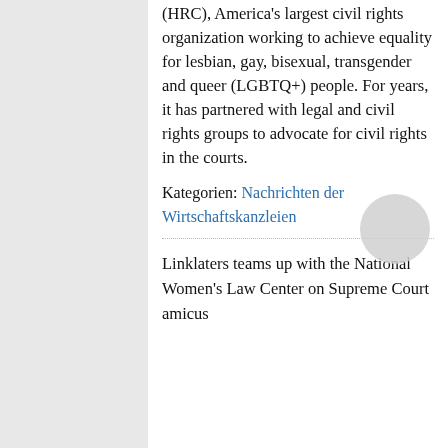(HRC), America's largest civil rights organization working to achieve equality for lesbian, gay, bisexual, transgender and queer (LGBTQ+) people. For years, it has partnered with legal and civil rights groups to advocate for civil rights in the courts.
Kategorien: Nachrichten der Wirtschaftskanzleien
Linklaters teams up with the National Women's Law Center on Supreme Court amicus